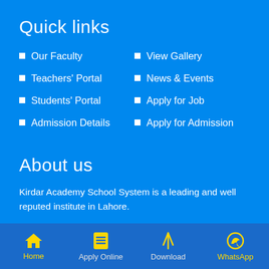Quick links
Our Faculty
View Gallery
Teachers' Portal
News & Events
Students' Portal
Apply for Job
Admission Details
Apply for Admission
About us
Kirdar Academy School System is a leading and well reputed institute in Lahore.
We are providing quality education to our students and making them a successful and loyal citizen of Pakistan.
Home | Apply Online | Download | WhatsApp